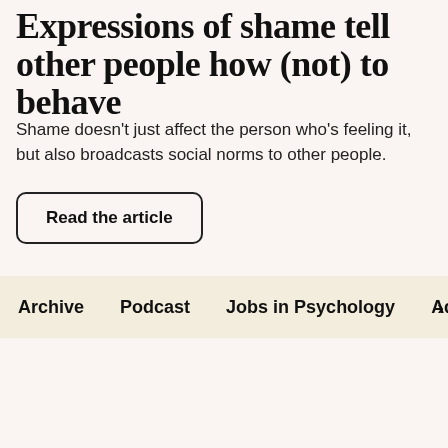Expressions of shame tell other people how (not) to behave
Shame doesn't just affect the person who's feeling it, but also broadcasts social norms to other people.
Read the article
Archive   Podcast   Jobs in Psychology   Adverti ›